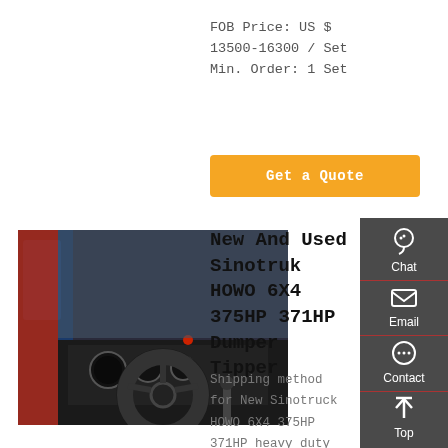FOB Price: US $ 13500-16300 / Set Min. Order: 1 Set
Get a Quote
[Figure (photo): Interior view of a Sinotruk HOWO truck cab showing steering wheel, dashboard and gear shift]
New And Used Sinotruk HOWO 6X4 375HP 371HP Dumper Tipper
Shipping method for New Sinotruck HOWO 6X4 375HP 371HP heavy duty Sand Tipper tipping dumper Used Dump Truck: Usually